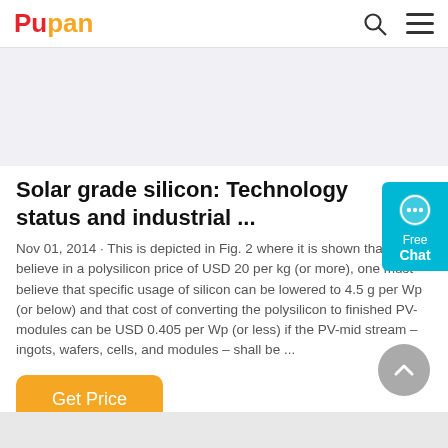Pupan
[Figure (other): Light gray advertisement banner placeholder]
Solar grade silicon: Technology status and industrial ...
Nov 01, 2014 · This is depicted in Fig. 2 where it is shown that to believe in a polysilicon price of USD 20 per kg (or more), one must believe that specific usage of silicon can be lowered to 4.5 g per Wp (or below) and that cost of converting the polysilicon to finished PV-modules can be USD 0.405 per Wp (or less) if the PV-mid stream – ingots, wafers, cells, and modules – shall be ...
Get Price